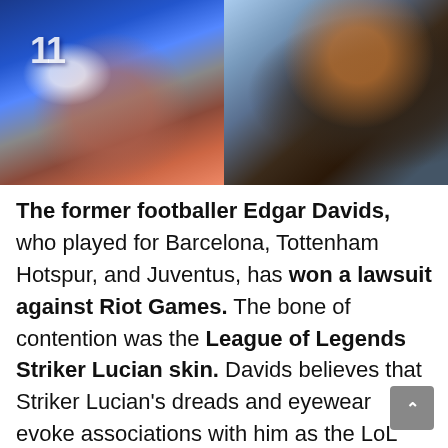[Figure (photo): Split image: left side shows an illustrated/stylized footballer in a blue and white jersey with number 11, with reddish action elements; right side shows a real photograph of a man with dreadlocks and orange-tinted goggles/eyewear wearing a light blue sports top, shown in close-up profile.]
The former footballer Edgar Davids, who played for Barcelona, Tottenham Hotspur, and Juventus, has won a lawsuit against Riot Games. The bone of contention was the League of Legends Striker Lucian skin. Davids believes that Striker Lucian's dreads and eyewear evoke associations with him as the LoL champion looked exactly like the footballer in his playing days.